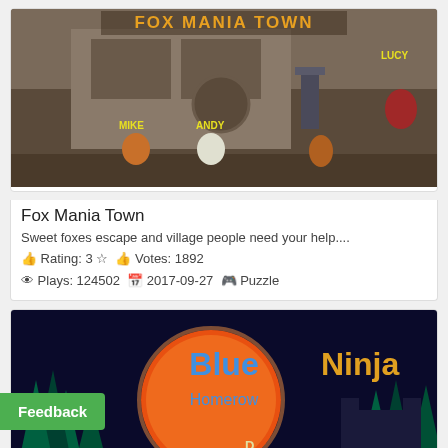[Figure (screenshot): Fox Mania Town game screenshot showing cartoon fox characters labeled MIKE, ANDY, LUCY in a town setting with a FOX MANIA TOWN title banner]
Fox Mania Town
Sweet foxes escape and village people need your help....
👍 Rating: 3 ☆  👍 Votes: 1892
👁 Plays: 124502  📅 2017-09-27  🎮 Puzzle
[Figure (screenshot): Blue Ninja Homerow game screenshot showing a ninja character in a dark forest scene with a large orange moon, labeled characters D, F, J, K]
Feedback